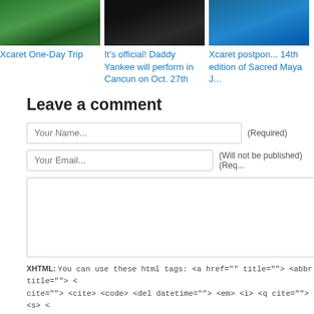[Figure (photo): Aerial photo of Xcaret area with green trees and buildings]
Xcaret One-Day Trip
[Figure (photo): Dark photo, possibly a performer or event]
It's official! Daddy Yankee will perform in Cancun on Oct. 27th
[Figure (photo): Photo of ocean waves with blue water]
Xcaret postpones 14th edition of Sacred Maya J...
Leave a comment
Your Name... (Required)
Your Email... (Will not be published) (Req...
XHTML: You can use these html tags: <a href="" title=""> <abbr title=""> <cite=""> <cite> <code> <del datetime=""> <em> <i> <q cite=""> <s>...
Submit Comment